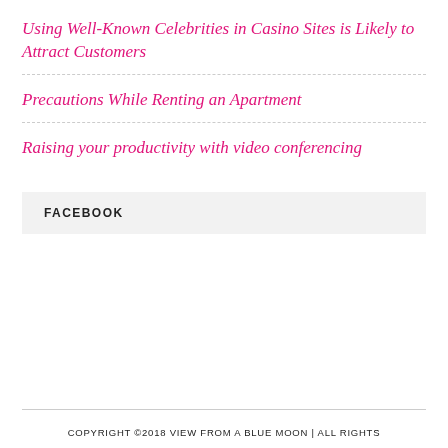Using Well-Known Celebrities in Casino Sites is Likely to Attract Customers
Precautions While Renting an Apartment
Raising your productivity with video conferencing
FACEBOOK
COPYRIGHT ©2018 VIEW FROM A BLUE MOON | ALL RIGHTS